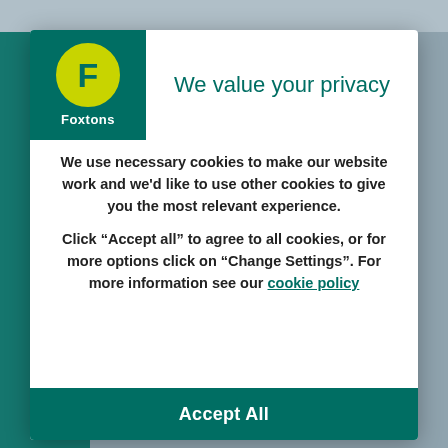[Figure (logo): Foxtons logo: white F on yellow-green circle inside dark teal square with 'Foxtons' text below]
We value your privacy
We use necessary cookies to make our website work and we'd like to use other cookies to give you the most relevant experience.
Click “Accept all” to agree to all cookies, or for more options click on “Change Settings”. For more information see our cookie policy